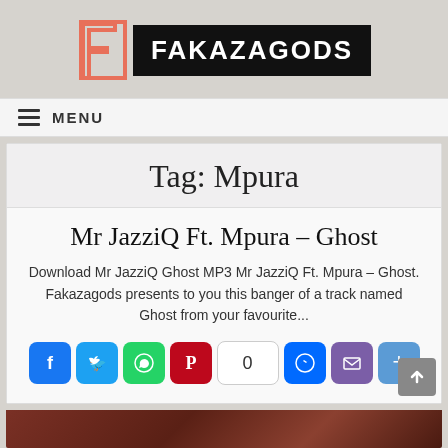[Figure (logo): Fakazagods logo with stylized F icon in salmon/coral color and FAKAZAGODS text in white on black background]
MENU
Tag: Mpura
Mr JazziQ Ft. Mpura – Ghost
Download Mr JazziQ Ghost MP3 Mr JazziQ Ft. Mpura – Ghost. Fakazagods presents to you this banger of a track named Ghost from your favourite...
[Figure (infographic): Social sharing buttons: Facebook, Twitter, WhatsApp, Pinterest, count (0), Messenger, Email, More]
[Figure (photo): Bottom portion of a photo, dark reddish-brown tones, partially visible]